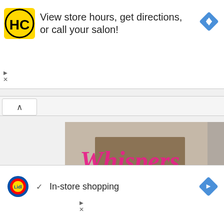[Figure (screenshot): Top advertisement banner: HC (Hair Club) logo on yellow background, text 'View store hours, get directions, or call your salon!', blue diamond navigation icon on right. Small play and X controls on left side below.]
[Figure (screenshot): Chevron/up-arrow button in a white bar below the top ad, indicating a collapsed section.]
[Figure (screenshot): Whispers romance stories app advertisement showing a romantic couple illustration with 'Whispers' logo in pink cursive text, romance stories tagline. Question mark and X close buttons in top right of ad.]
[Figure (screenshot): Large X close button on right side of the Whispers ad overlay.]
[Figure (screenshot): Bottom advertisement banner: Lidl logo, checkmark and 'In-store shopping' text, blue diamond navigation icon. Small play and X controls on left side below.]